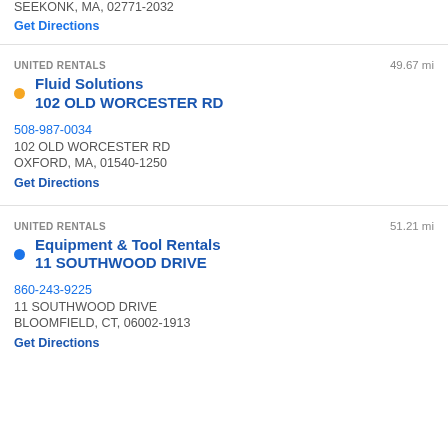SEEKONK, MA, 02771-2032
Get Directions
UNITED RENTALS   49.67 mi
Fluid Solutions
102 OLD WORCESTER RD
508-987-0034
102 OLD WORCESTER RD
OXFORD, MA, 01540-1250
Get Directions
UNITED RENTALS   51.21 mi
Equipment & Tool Rentals
11 SOUTHWOOD DRIVE
860-243-9225
11 SOUTHWOOD DRIVE
BLOOMFIELD, CT, 06002-1913
Get Directions